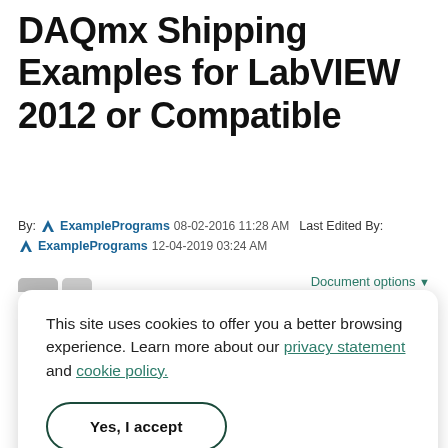DAQmx Shipping Examples for LabVIEW 2012 or Compatible
By: ExamplePrograms  08-02-2016 11:28 AM  Last Edited By: ExamplePrograms  12-04-2019 03:24 AM
Document options
This site uses cookies to offer you a better browsing experience. Learn more about our privacy statement and cookie policy.
Yes, I accept